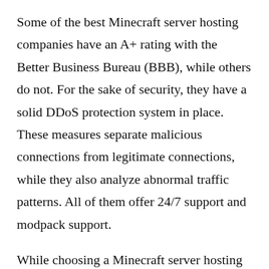Some of the best Minecraft server hosting companies have an A+ rating with the Better Business Bureau (BBB), while others do not. For the sake of security, they have a solid DDoS protection system in place. These measures separate malicious connections from legitimate connections, while they also analyze abnormal traffic patterns. All of them offer 24/7 support and modpack support.
While choosing a Minecraft server hosting provider, you should look for features such as live chat support, user forums, and dedicated servers. The best providers are those with extensive knowledge of Minecraft. They can even help you install and configure mod packs and plugins. The best options also offer customer support and